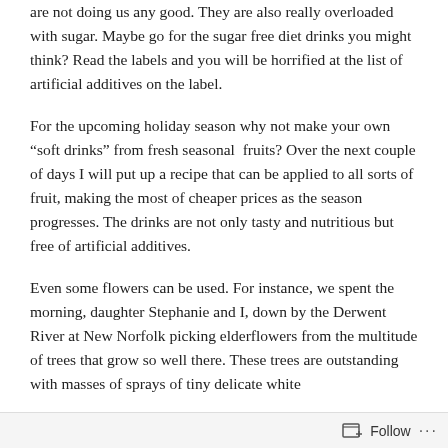are not doing us any good.  They are also really overloaded with sugar.  Maybe go for the sugar free diet drinks you might think?  Read the labels and you will be horrified at the list of artificial additives on the label.
For the upcoming holiday season why not make your own “soft drinks” from fresh seasonal  fruits?  Over the next couple of days I will put up a recipe that can be applied to all sorts of fruit, making the most of cheaper prices as the season progresses.  The drinks are not only tasty and nutritious but free of artificial additives.
Even some flowers can be used.  For instance, we spent the morning, daughter Stephanie and I, down by the Derwent River at New Norfolk picking elderflowers from the multitude of trees that grow so well there.  These trees are outstanding with masses of sprays of tiny delicate white
Follow